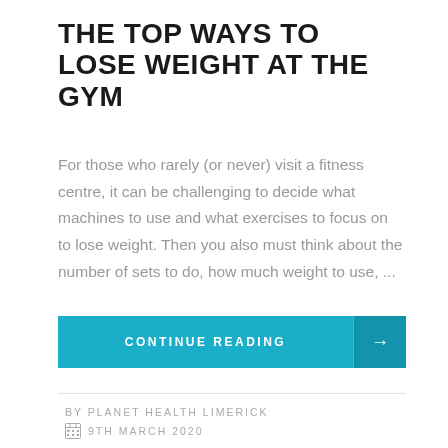THE TOP WAYS TO LOSE WEIGHT AT THE GYM
For those who rarely (or never) visit a fitness centre, it can be challenging to decide what machines to use and what exercises to focus on to lose weight. Then you also must think about the number of sets to do, how much weight to use, ...
CONTINUE READING →
BY PLANET HEALTH LIMERICK
9TH MARCH 2020